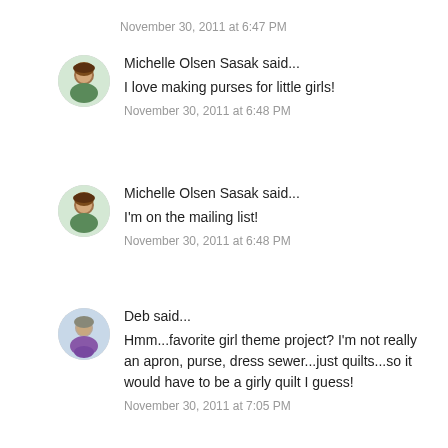November 30, 2011 at 6:47 PM
Michelle Olsen Sasak said...
I love making purses for little girls!
November 30, 2011 at 6:48 PM
Michelle Olsen Sasak said...
I'm on the mailing list!
November 30, 2011 at 6:48 PM
Deb said...
Hmm...favorite girl theme project? I'm not really an apron, purse, dress sewer...just quilts...so it would have to be a girly quilt I guess!
November 30, 2011 at 7:05 PM